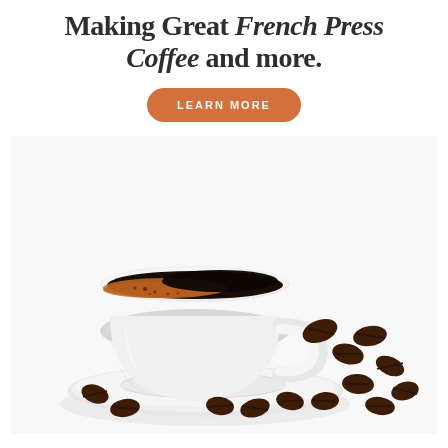Making Great French Press Coffee and more.
LEARN MORE
[Figure (photo): A white ceramic coffee cup filled with black French press coffee, resting on a white saucer, with scattered dark roasted coffee beans around it on a white background.]